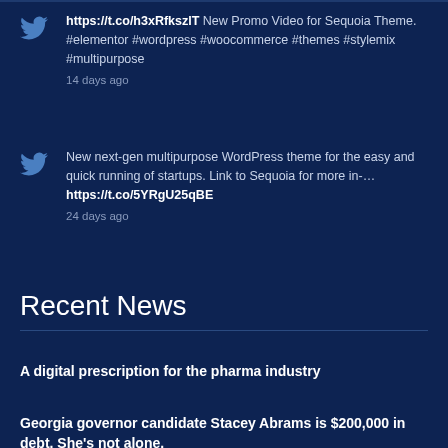https://t.co/h3xRfkszlT New Promo Video for Sequoia Theme. #elementor #wordpress #woocommerce #themes #stylemix #multipurpose
14 days ago
New next-gen multipurpose WordPress theme for the easy and quick running of startups. Link to Sequoia for more in-… https://t.co/5YRgU25qBE
24 days ago
Recent News
A digital prescription for the pharma industry
Georgia governor candidate Stacey Abrams is $200,000 in debt. She's not alone.